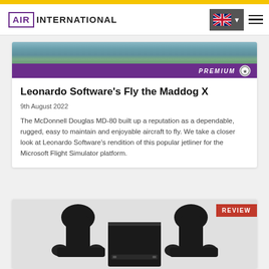AIR INTERNATIONAL
[Figure (photo): Aerial photograph of coastline or landscape, partially visible at top of article card, with a purple PREMIUM banner overlay at bottom]
Leonardo Software's Fly the Maddog X
9th August 2022
The McDonnell Douglas MD-80 built up a reputation as a dependable, rugged, easy to maintain and enjoyable aircraft to fly. We take a closer look at Leonardo Software's rendition of this popular jetliner for the Microsoft Flight Simulator platform.
[Figure (photo): Black and white photo of flight simulator yoke/control column hardware with REVIEW badge in top right corner]